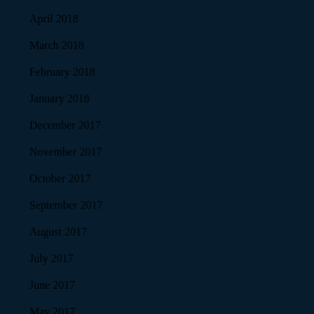April 2018
March 2018
February 2018
January 2018
December 2017
November 2017
October 2017
September 2017
August 2017
July 2017
June 2017
May 2017
March 2017
February 2017
January 2017